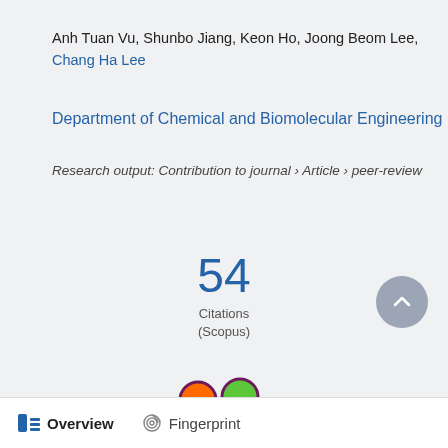Anh Tuan Vu, Shunbo Jiang, Keon Ho, Joong Beom Lee, Chang Ha Lee
Department of Chemical and Biomolecular Engineering
Research output: Contribution to journal › Article › peer-review
54 Citations (Scopus)
[Figure (logo): Altmetric butterfly logo with orange, green, and purple circles]
Overview   Fingerprint